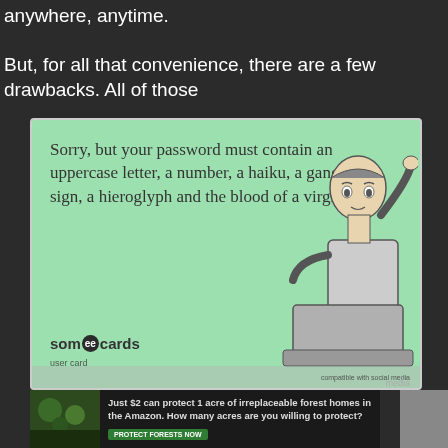anywhere, anytime.
But, for all that convenience, there are a few drawbacks. All of those
[Figure (illustration): A someecards 'user card' meme on a green background. Text reads: 'Sorry, but your password must contain an uppercase letter, a number, a haiku, a gang sign, a hieroglyph and the blood of a virgin.' A cartoon illustration of a frustrated man with his hand on his head looking at a computer monitor is on the right side. The someecards logo is in the bottom left.]
[Figure (infographic): An advertisement bar at the bottom: 'Just $2 can protect 1 acre of irreplaceable forest homes in the Amazon. How many acres are you willing to protect?' with a green 'PROTECT FORESTS NOW' button and a forest photo on the left.]